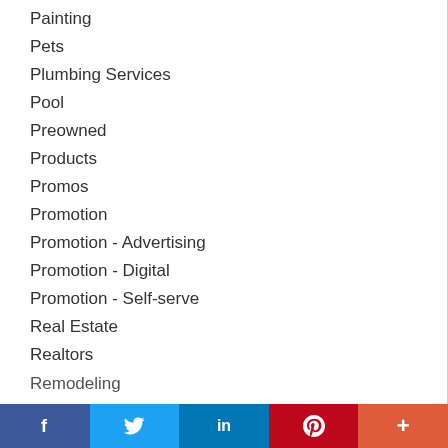Painting
Pets
Plumbing Services
Pool
Preowned
Products
Promos
Promotion
Promotion - Advertising
Promotion - Digital
Promotion - Self-serve
Real Estate
Realtors
Remodeling
f  Twitter  in  P  +